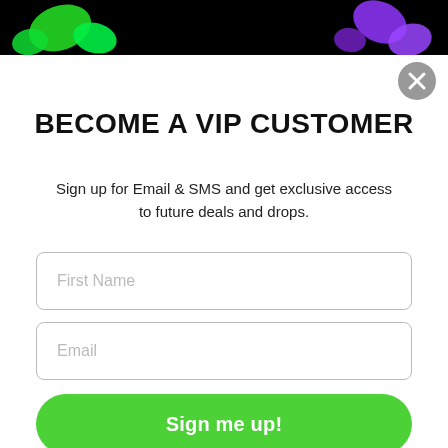[Figure (photo): Dark/black background with colorful green and purple candy or gummy bears scattered, visible at top of popup]
[Figure (illustration): Gray circle close button with X symbol in top right corner]
BECOME A VIP CUSTOMER
Sign up for Email & SMS and get exclusive access to future deals and drops.
First Name
Email
Sign me up!